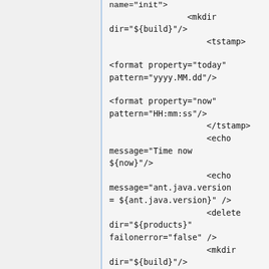name="init">
                    <mkdir dir="${build}"/>
                        <tstamp>

<format property="today" pattern="yyyy.MM.dd"/>

<format property="now" pattern="HH:mm:ss"/>
                        </tstamp>
                        <echo message="Time now ${now}"/>
                        <echo message="ant.java.version = ${ant.java.version}" />
                        <delete dir="${products}" failonerror="false" />
                        <mkdir dir="${build}"/>
                        <mkdir dir="${products}"/>
                    </target>